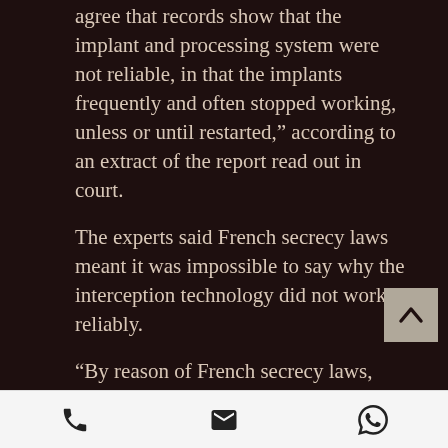agree that records show that the implant and processing system were not reliable, in that the implants frequently and often stopped working, unless or until restarted," according to an extract of the report read out in court.
The experts said French secrecy laws meant it was impossible to say why the interception technology did not work reliably.
“By reason of French secrecy laws, neither of us has any knowledge of how the implants or the implant processing system were designed or
[phone] [email] [whatsapp]